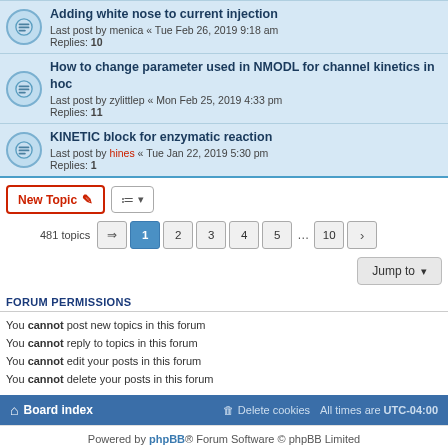Adding white nose to current injection — Last post by menica « Tue Feb 26, 2019 9:18 am — Replies: 10
How to change parameter used in NMODL for channel kinetics in hoc — Last post by zylittlep « Mon Feb 25, 2019 4:33 pm — Replies: 11
KINETIC block for enzymatic reaction — Last post by hines « Tue Jan 22, 2019 5:30 pm — Replies: 1
New Topic | Sort button | 481 topics | Page 1 2 3 4 5 ... 10
Jump to
FORUM PERMISSIONS
You cannot post new topics in this forum
You cannot reply to topics in this forum
You cannot edit your posts in this forum
You cannot delete your posts in this forum
Board index | Delete cookies | All times are UTC-04:00
Powered by phpBB® Forum Software © phpBB Limited | Privacy | Terms